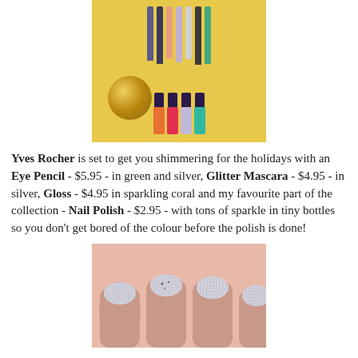[Figure (photo): Photo of Yves Rocher holiday makeup collection: nail polish bottles in orange, red/coral, lavender/silver, teal colors, plus several eye pencils in various colors, arranged on a gold background with a gold glitter Christmas ornament ball.]
Yves Rocher is set to get you shimmering for the holidays with an Eye Pencil - $5.95 - in green and silver, Glitter Mascara - $4.95 - in silver, Gloss - $4.95 in sparkling coral and my favourite part of the collection - Nail Polish - $2.95 - with tons of sparkle in tiny bottles so you don't get bored of the colour before the polish is done!
[Figure (photo): Close-up photo of four fingernails painted with silver glitter nail polish on a peachy-pink skin background.]